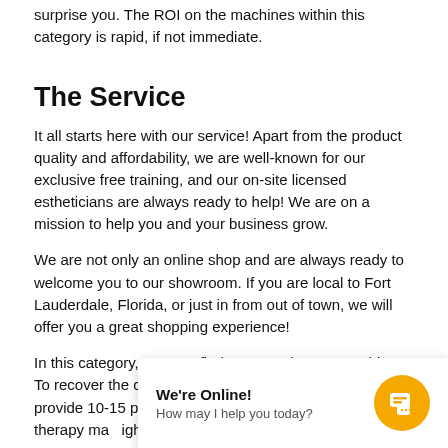surprise you. The ROI on the machines within this category is rapid, if not immediate.
The Service
It all starts here with our service! Apart from the product quality and affordability, we are well-known for our exclusive free training, and our on-site licensed estheticians are always ready to help! We are on a mission to help you and your business grow.
We are not only an online shop and are always ready to welcome you to our showroom. If you are local to Fort Lauderdale, Florida, or just in from out of town, we will offer you a great shopping experience!
In this category, you can find Vacuum therapy machines. To recover the cost of your equipment, all you need is to provide 10-15 procedures. If you are looking for a professional, affordable rea for Vacuum therapy ma ight